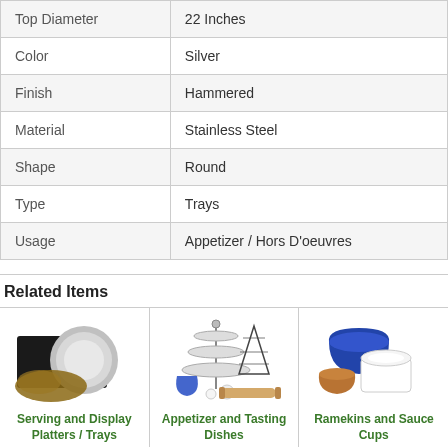| Top Diameter | 22 Inches |
| Color | Silver |
| Finish | Hammered |
| Material | Stainless Steel |
| Shape | Round |
| Type | Trays |
| Usage | Appetizer / Hors D'oeuvres |
Related Items
[Figure (photo): Serving and Display Platters / Trays — shows black rectangular tray, silver round plate, and brown cloth]
Serving and Display Platters / Trays
[Figure (photo): Appetizer and Tasting Dishes — shows tiered stand, cone holders, blue cup, small ramekins, rolling pin]
Appetizer and Tasting Dishes
[Figure (photo): Ramekins and Sauce Cups — shows blue bowl, white ramekin, copper cup]
Ramekins and Sauce Cups